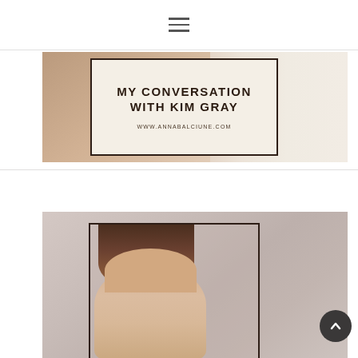[Figure (screenshot): Hamburger menu icon (three horizontal lines) centered near the top of the page]
[Figure (photo): Blog post banner image with a photo of hands in a wedding dress on the left, and a cream-colored text overlay box with border reading 'MY CONVERSATION WITH KIM GRAY' and 'WWW.ANNABALCIUNE.COM']
MY CONVERSATION WITH KIM GRAY
WWW.ANNABALCIUNE.COM
[Figure (photo): Portrait photo of a woman with dark brown hair, shown from the top of head downward, inside a dark-bordered frame, on a muted pinkish-beige background. A circular back-to-top arrow button appears in the bottom right corner.]